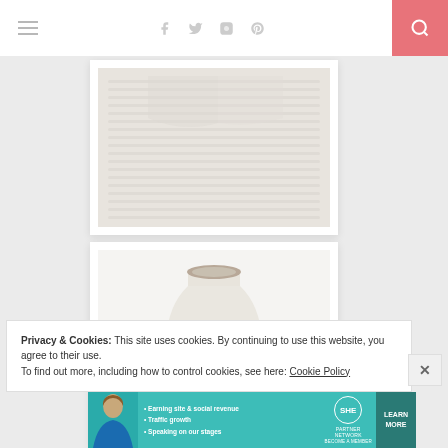[Figure (screenshot): Website header bar with hamburger menu icon on left, social media icons (Facebook, Twitter, Instagram, Pinterest) in center-right, and pink search button on far right]
[Figure (photo): Folded cream/white knit sweater or blanket on light gray background, partially cropped, shown in a white card frame]
[Figure (photo): Cream/beige ceramic vase with a narrow neck on a white background, shown in a white card frame]
Privacy & Cookies: This site uses cookies. By continuing to use this website, you agree to their use.
To find out more, including how to control cookies, see here: Cookie Policy
[Figure (infographic): SHE Partner Network advertisement banner in teal color with bullet points: Earning site & social revenue, Traffic growth, Speaking on our stages. Includes SHE logo and LEARN MORE button]